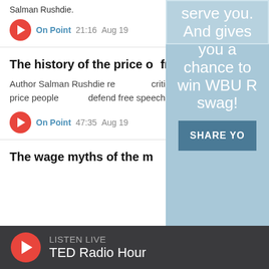Salman Rushdie.
On Point  21:16  Aug 19
The history of the price of free speech
Author Salman Rushdie remains in critical condition after a brutal attack last week. We'll look at the history of the price people pay to defend free speech.
On Point  47:35  Aug 19
The wage myths of the modern economy
serve you. And gives you a chance to win WBUR swag!
SHARE YO
LISTEN LIVE
TED Radio Hour